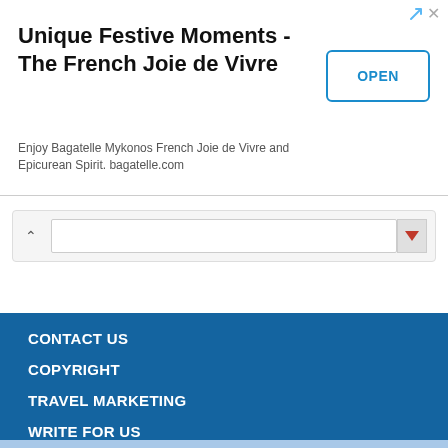[Figure (screenshot): Advertisement banner for Bagatelle Mykonos with title 'Unique Festive Moments - The French Joie de Vivre', an OPEN button, and subtitle text 'Enjoy Bagatelle Mykonos French Joie de Vivre and Epicurean Spirit. bagatelle.com']
[Figure (screenshot): Dropdown/collapse UI element with an up-caret arrow on the left, an input field in the center, and a red triangle/dropdown arrow on the right]
CONTACT US
COPYRIGHT
TRAVEL MARKETING
WRITE FOR US
PRIVACY POLICY
TERMS OF USE
HELP